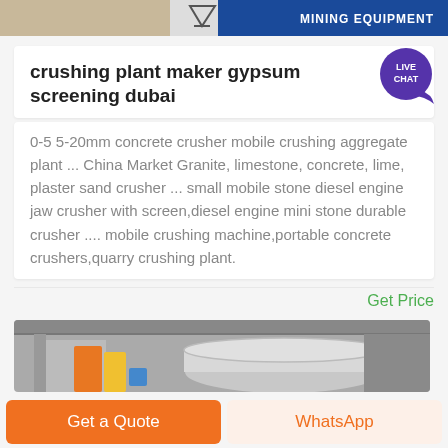[Figure (photo): Top banner image with brown/wood material on left, blue mining equipment banner on right with a triangular logo]
crushing plant maker gypsum screening dubai
0-5 5-20mm concrete crusher mobile crushing aggregate plant ... China Market Granite, limestone, concrete, lime, plaster sand crusher ... small mobile stone diesel engine jaw crusher with screen,diesel engine mini stone durable crusher .... mobile crushing machine,portable concrete crushers,quarry crushing plant.
Get Price
[Figure (photo): Bottom image showing industrial crushing/screening plant interior with orange and yellow machinery and large pipe]
Get a Quote
WhatsApp